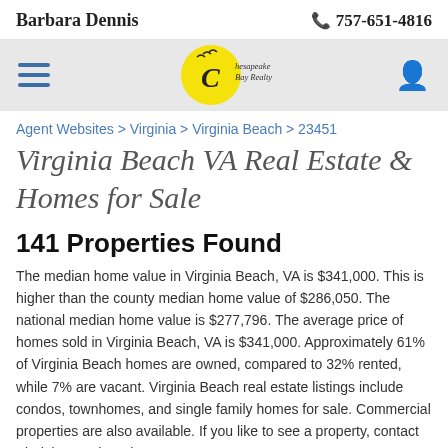Barbara Dennis | 757-651-4816
[Figure (logo): Chesapeake Bay Realty logo — yellow circle with a 'C' and seagulls, text 'Chesapeake Bay Realty']
Agent Websites > Virginia > Virginia Beach > 23451
Virginia Beach VA Real Estate & Homes for Sale
141 Properties Found
The median home value in Virginia Beach, VA is $341,000. This is higher than the county median home value of $286,050. The national median home value is $277,796. The average price of homes sold in Virginia Beach, VA is $341,000. Approximately 61% of Virginia Beach homes are owned, compared to 32% rented, while 7% are vacant. Virginia Beach real estate listings include condos, townhomes, and single family homes for sale. Commercial properties are also available. If you like to see a property, contact Virginia Beach real estate agent to arrange a